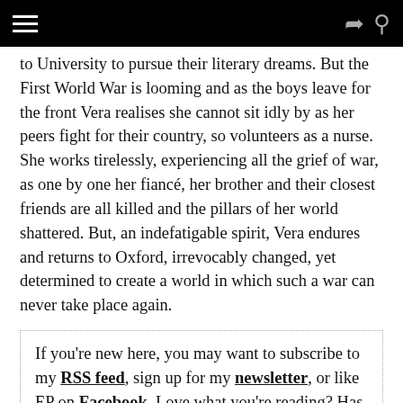[Navigation bar with hamburger menu, share icon, and search icon]
to University to pursue their literary dreams. But the First World War is looming and as the boys leave for the front Vera realises she cannot sit idly by as her peers fight for their country, so volunteers as a nurse. She works tirelessly, experiencing all the grief of war, as one by one her fiancé, her brother and their closest friends are all killed and the pillars of her world shattered. But, an indefatigable spirit, Vera endures and returns to Oxford, irrevocably changed, yet determined to create a world in which such a war can never take place again.
If you're new here, you may want to subscribe to my RSS feed, sign up for my newsletter, or like EP on Facebook. Love what you're reading? Has it helped